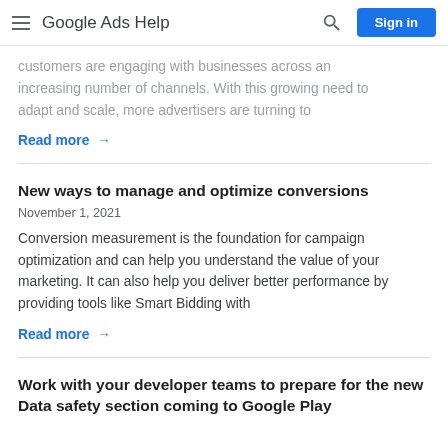Google Ads Help
customers are engaging with businesses across an increasing number of channels. With this growing need to adapt and scale, more advertisers are turning to
Read more →
New ways to manage and optimize conversions
November 1, 2021
Conversion measurement is the foundation for campaign optimization and can help you understand the value of your marketing. It can also help you deliver better performance by providing tools like Smart Bidding with
Read more →
Work with your developer teams to prepare for the new Data safety section coming to Google Play